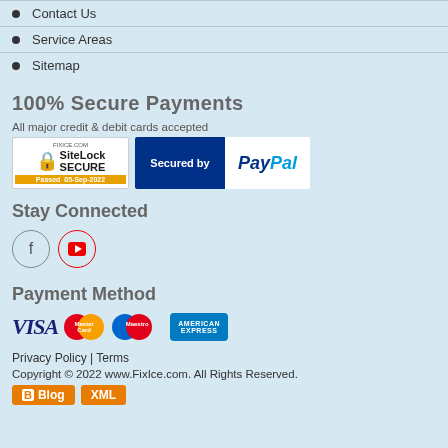Contact Us
Service Areas
Sitemap
100% Secure Payments
All major credit & debit cards accepted
[Figure (logo): SiteLock Secure badge and PayPal Secured by badge]
Stay Connected
[Figure (other): Facebook and YouTube social media icons]
Payment Method
[Figure (logo): VISA, MasterCard, Maestro, American Express payment logos]
Privacy Policy | Terms
Copyright © 2022 www.FixIce.com. All Rights Reserved.
[Figure (other): Blog and XML buttons]